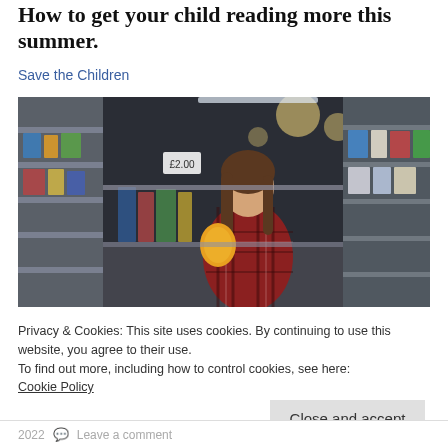How to get your child reading more this summer.
Save the Children
[Figure (photo): Woman in a plaid shirt browsing shelves in a supermarket, picking up a product and reading its label. Shelves are stocked with various products. Store lighting creates bokeh effect in background.]
Privacy & Cookies: This site uses cookies. By continuing to use this website, you agree to their use.
To find out more, including how to control cookies, see here: Cookie Policy
Close and accept
2022  Leave a comment